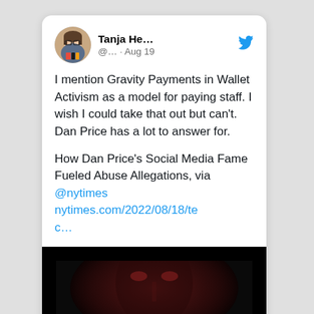[Figure (screenshot): Twitter/X screenshot of a tweet by Tanja He... (@... · Aug 19) with a Twitter bird icon, profile avatar photo of a woman with glasses. Tweet text: 'I mention Gravity Payments in Wallet Activism as a model for paying staff. I wish I could take that out but can't. Dan Price has a lot to answer for.

How Dan Price's Social Media Fame Fueled Abuse Allegations, via @nytimes nytimes.com/2022/08/18/tec...' with a dark preview image at the bottom showing a face with red tones.]